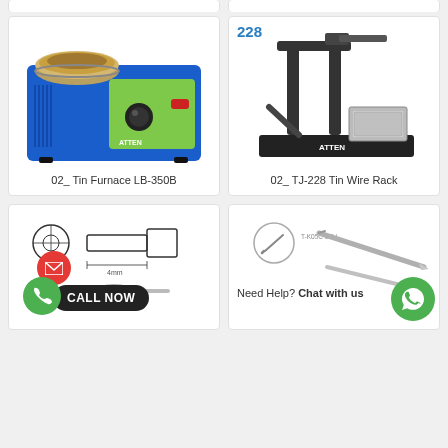[Figure (photo): Top partial card left - border only visible]
[Figure (photo): Top partial card right - border only visible]
[Figure (photo): Product photo: ATTEN Tin Furnace LB-350B, blue and green device with round metal pot on top]
02_ Tin Furnace LB-350B
[Figure (photo): Product labeled TJ-228: Black metal tin wire rack stand with sponge tray, ATTEN brand]
02_ TJ-228 Tin Wire Rack
[Figure (engineering-diagram): Engineering diagram of a round nozzle tip with dimension 4mm, and a grey conical tip component below]
[Figure (photo): Soldering tip product with circular diagram labeled T-K05C 0.5i, showing two long metallic soldering tips]
Need Help? Chat with us
CALL NOW